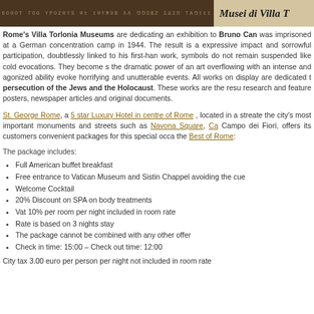[Figure (photo): Header image showing a dark brown museum/building photo on the left portion, with text overlay reading address/phone details, and on the right a tan/cream colored area with text 'Musei di Villa T' in italic serif font]
Rome's Villa Torlonia Museums are dedicating an exhibition to Bruno Can... was imprisoned at a German concentration camp in 1944. The result is a... expressive impact and sorrowful participation, doubtlessly linked to his first-ha... work, symbols do not remain suspended like cold evocations. They become s... the dramatic power of an art overflowing with an intense and agonized ability... evoke horrifying and unutterable events. All works on display are dedicated t... persecution of the Jews and the Holocaust. These works are the resu... research and feature posters, newspaper articles and original documents.
St. George Rome, a 5 star Luxury Hotel in centre of Rome, located in a streate... the city's most important monuments and streets such as Navona Square, Ca... Campo dei Fiori, offers its customers convenient packages for this special occa... the Best of Rome:
The package includes:
Full American buffet breakfast
Free entrance to Vatican Museum and Sistin Chappel avoiding the cue
Welcome Cocktail
20% Discount on SPA on body treatments
Vat 10% per room per night included in room rate
Rate is based on 3 nights stay
The package cannot be combined with any other offer
Check in time: 15:00 – Check out time: 12:00
City tax 3.00 euro per person per night not included in room rate